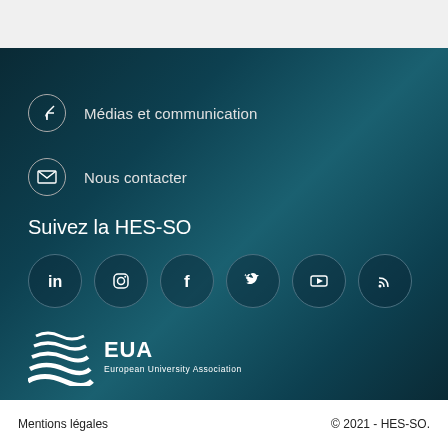Médias et communication
Nous contacter
Suivez la HES-SO
[Figure (logo): Social media icons row: LinkedIn, Instagram, Facebook, Twitter, YouTube, RSS]
[Figure (logo): EUA European University Association logo in white]
Mentions légales   © 2021 - HES-SO.